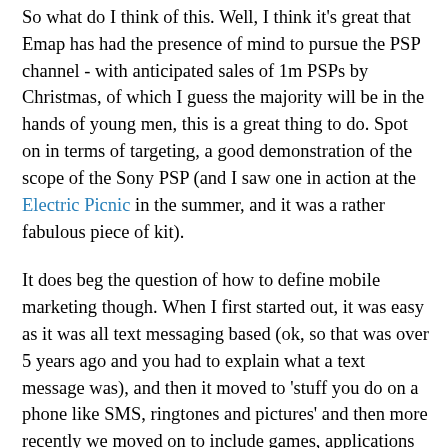So what do I think of this. Well, I think it's great that Emap has had the presence of mind to pursue the PSP channel - with anticipated sales of 1m PSPs by Christmas, of which I guess the majority will be in the hands of young men, this is a great thing to do. Spot on in terms of targeting, a good demonstration of the scope of the Sony PSP (and I saw one in action at the Electric Picnic in the summer, and it was a rather fabulous piece of kit).
It does beg the question of how to define mobile marketing though. When I first started out, it was easy as it was all text messaging based (ok, so that was over 5 years ago and you had to explain what a text message was), and then it moved to 'stuff you do on a phone like SMS, ringtones and pictures' and then more recently we moved on to include games, applications and wap and now it's 'stuff you do on a phone, a PDA, an ipod,a mp3 player, a Sony PSP and, and.' I wonder what's next. And what the impact of wi-fi might be too.
Don't get me wrong, I love all the technology, and the potential it will bring, but by fragmenting the means of access, and the means of delivery, it could make it confusing